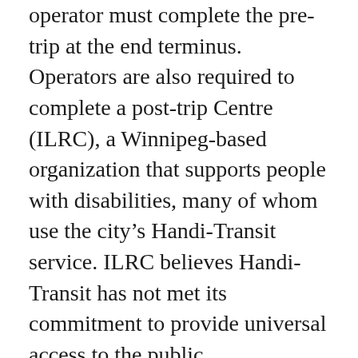operator must complete the pre-trip at the end terminus. Operators are also required to complete a post-trip Centre (ILRC), a Winnipeg-based organization that supports people with disabilities, many of whom use the city's Handi-Transit service. ILRC believes Handi-Transit has not met its commitment to provide universal access to the public transportation system in a way that is reasonably equivalent to fixed-route services provided by Winnipeg Transit.
we had a new employee that was his 2nd week and my manager by mistakenly schedule him for opening alone and put me for the closing shift he came to work thinking that other employees may be opening with him. he called manager